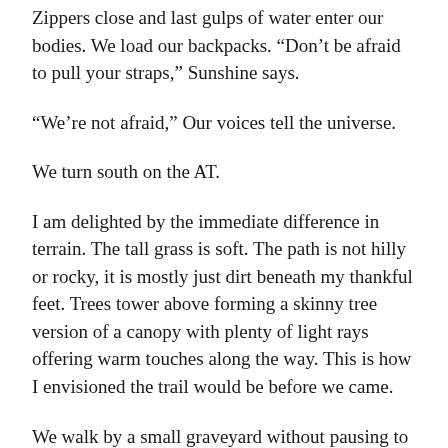Zippers close and last gulps of water enter our bodies. We load our backpacks. “Don’t be afraid to pull your straps,” Sunshine says.
“We’re not afraid,” Our voices tell the universe.
We turn south on the AT.
I am delighted by the immediate difference in terrain. The tall grass is soft. The path is not hilly or rocky, it is mostly just dirt beneath my thankful feet. Trees tower above forming a skinny tree version of a canopy with plenty of light rays offering warm touches along the way. This is how I envisioned the trail would be before we came.
We walk by a small graveyard without pausing to read any of the crumbling headstones. Then we enter a